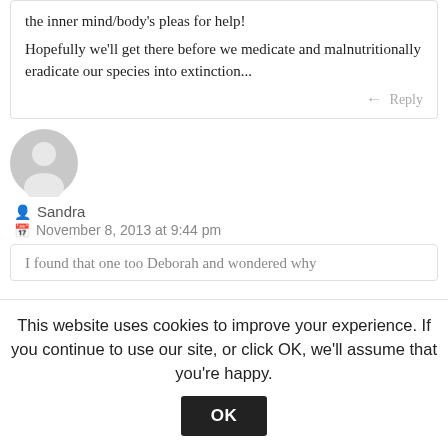the inner mind/body's pleas for help!

Hopefully we'll get there before we medicate and malnutritionally eradicate our species into extinction...
Reply
[Figure (illustration): Generic user avatar: gray circle with person silhouette]
Sandra
November 8, 2013 at 9:44 pm
I found that one too Deborah and wondered why
This website uses cookies to improve your experience. If you continue to use our site, or click OK, we'll assume that you're happy.